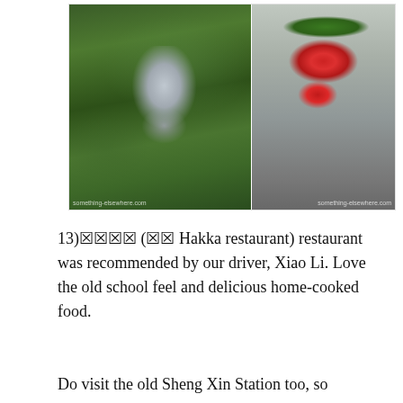[Figure (photo): Two side-by-side photos: left shows a young boy wearing glasses and a cap holding up a strawberry in a strawberry farm; right shows a hand holding several fresh red strawberries.]
13)🀄🀄🀄🀄 (🀄🀄 Hakka restaurant) restaurant was recommended by our driver, Xiao Li. Love the old school feel and delicious home-cooked food.
Do visit the old Sheng Xin Station too, so nostalgic.